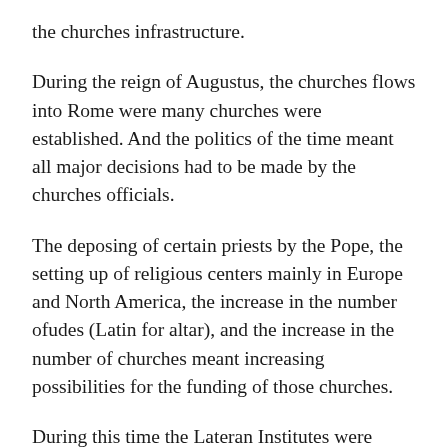the churches infrastructure.
During the reign of Augustus, the churches flows into Rome were many churches were established. And the politics of the time meant all major decisions had to be made by the churches officials.
The deposing of certain priests by the Pope, the setting up of religious centers mainly in Europe and North America, the increase in the number ofudes (Latin for altar), and the increase in the number of churches meant increasing possibilities for the funding of those churches.
During this time the Lateran Institutes were